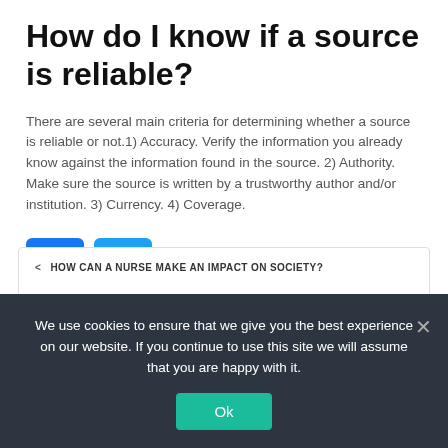How do I know if a source is reliable?
There are several main criteria for determining whether a source is reliable or not.1) Accuracy. Verify the information you already know against the information found in the source. 2) Authority. Make sure the source is written by a trustworthy author and/or institution. 3) Currency. 4) Coverage.
[Figure (other): Facebook and Twitter social share buttons]
< HOW CAN A NURSE MAKE AN IMPACT ON SOCIETY?
We use cookies to ensure that we give you the best experience on our website. If you continue to use this site we will assume that you are happy with it.